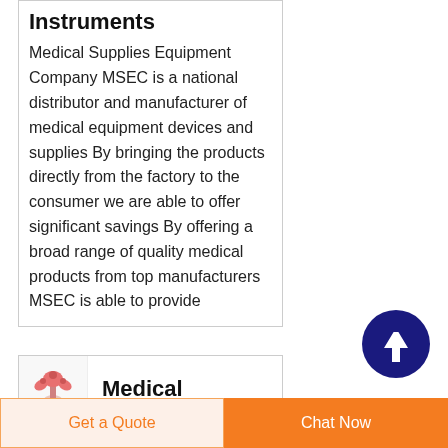Instruments
Medical Supplies Equipment Company MSEC is a national distributor and manufacturer of medical equipment devices and supplies By bringing the products directly from the factory to the consumer we are able to offer significant savings By offering a broad range of quality medical products from top manufacturers MSEC is able to provide
[Figure (other): Dark blue circular button with white upward arrow icon]
[Figure (other): Small medical/health related icon image (mushroom-like medical symbol in pink/red)]
Medical
Get a Quote
Chat Now